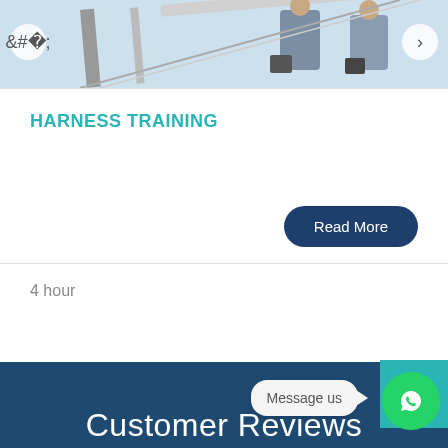[Figure (photo): People on escalator or stairs, partial view showing legs and luggage, light blue sky background]
HARNESS TRAINING
Read More
4 hour
Customer Reviews